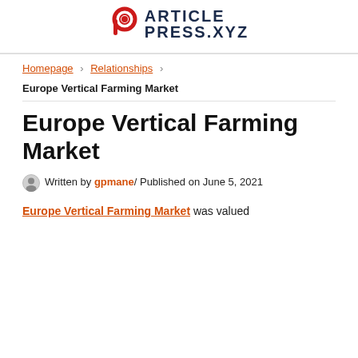ARTICLEPRESS.XYZ
Homepage > Relationships >
Europe Vertical Farming Market
Europe Vertical Farming Market
Written by gpmane/ Published on June 5, 2021
Europe Vertical Farming Market was valued